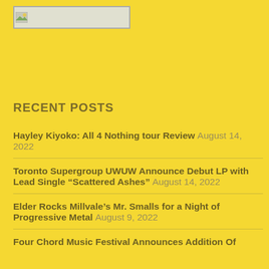[Figure (logo): Broken image placeholder / logo area in top left with small image icon]
RECENT POSTS
Hayley Kiyoko: All 4 Nothing tour Review August 14, 2022
Toronto Supergroup UWUW Announce Debut LP with Lead Single “Scattered Ashes” August 14, 2022
Elder Rocks Millvale’s Mr. Smalls for a Night of Progressive Metal August 9, 2022
Four Chord Music Festival Announces Addition Of